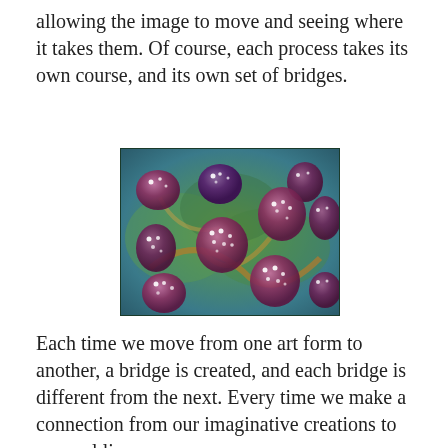allowing the image to move and seeing where it takes them. Of course, each process takes its own course, and its own set of bridges.
[Figure (photo): Abstract painting with multiple purple/mauve oval and circular shapes with white dot highlights, set against a swirling green, blue, orange, and yellow background.]
Each time we move from one art form to another, a bridge is created, and each bridge is different from the next. Every time we make a connection from our imaginative creations to our real lives, we are